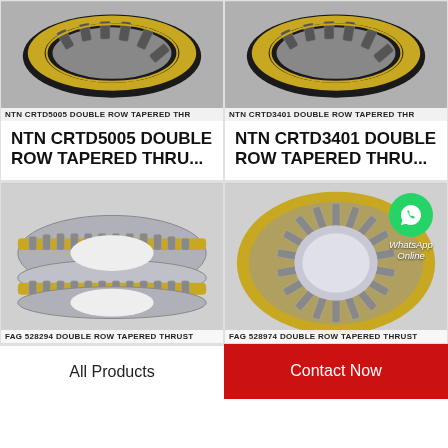[Figure (photo): NTN CRTD5005 double row tapered thrust bearing photo, top-left]
NTN CRTD5005 DOUBLE ROW TAPERED THR
NTN CRTD5005 DOUBLE ROW TAPERED THRU...
[Figure (photo): NTN CRTD3401 double row tapered thrust bearing photo, top-right]
NTN CRTD3401 DOUBLE ROW TAPERED THR
NTN CRTD3401 DOUBLE ROW TAPERED THRU...
[Figure (photo): FAG 528294 double row tapered thrust bearing photo, bottom-left]
FAG 528294 DOUBLE ROW TAPERED THRUST
[Figure (photo): FAG 528974 double row tapered thrust bearing photo, bottom-right, with WhatsApp Online overlay]
FAG 528974 DOUBLE ROW TAPERED THRUST
All Products
Contact Now